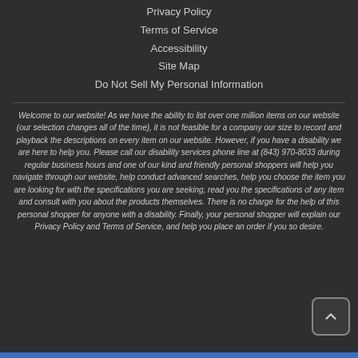Privacy Policy
Terms of Service
Accessibility
Site Map
Do Not Sell My Personal Information
Welcome to our website! As we have the ability to list over one million items on our website (our selection changes all of the time), it is not feasible for a company our size to record and playback the descriptions on every item on our website. However, if you have a disability we are here to help you. Please call our disability services phone line at (843) 970-8033 during regular business hours and one of our kind and friendly personal shoppers will help you navigate through our website, help conduct advanced searches, help you choose the item you are looking for with the specifications you are seeking, read you the specifications of any item and consult with you about the products themselves. There is no charge for the help of this personal shopper for anyone with a disability. Finally, your personal shopper will explain our Privacy Policy and Terms of Service, and help you place an order if you so desire.